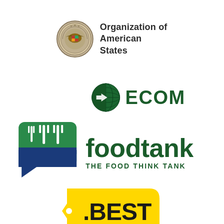[Figure (logo): Organization of American States seal/logo with circular emblem and text 'Organization of American States']
[Figure (logo): ECOM logo with green globe/arrow icon and text 'ECOM']
[Figure (logo): Food Tank logo with green and blue speech bubble containing fork icons, text 'foodtank THE FOOD THINK TANK']
[Figure (logo): Best Buy logo - yellow price tag shape with '.BEST' text in black bold]